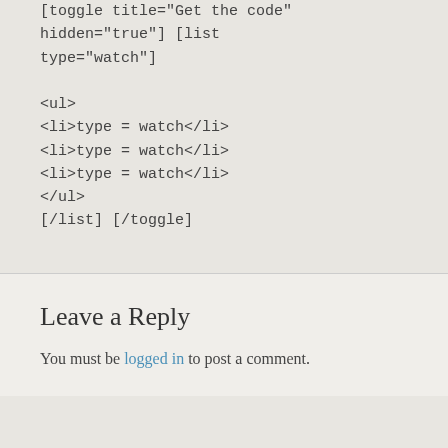[toggle title="Get the code" hidden="true"] [list type="watch"]

<ul>
<li>type = watch</li>
<li>type = watch</li>
<li>type = watch</li>
</ul>
[/list] [/toggle]
Leave a Reply
You must be logged in to post a comment.